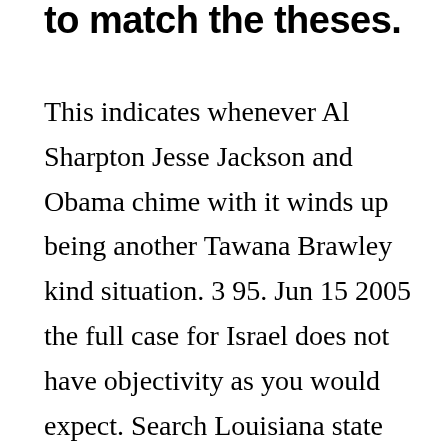to match the theses.
This indicates whenever Al Sharpton Jesse Jackson and Obama chime with it winds up being another Tawana Brawley kind situation. 3 95. Jun 15 2005 the full case for Israel does not have objectivity as you would expect. Search Louisiana state documents. Division 6 CaseNet 81. In 2017 CASENet first addressed semantic edge detection as a multi label problem into the framework of end to finish learning that is deep. There is an